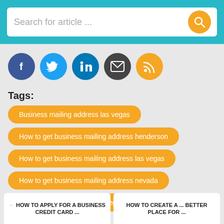Search for article ...
[Figure (infographic): Social media icons row: Facebook (blue), Twitter (light blue), LinkedIn (dark blue), Email (dark grey), RSS (orange)]
Tags:
Business mailing address las vegas
How to get business mailing address henderson
How to get business mailing address las vegas
How to get business mailing address nevada
How to get po box usps las vegas
← HOW TO APPLY FOR A BUSINESS CREDIT CARD ...   HOW TO CREATE A ... BETTER PLACE FOR ...